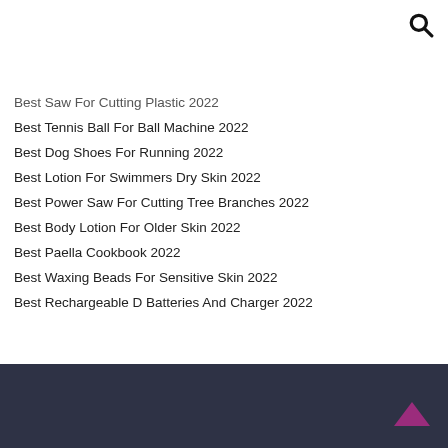Best Saw For Cutting Plastic 2022
Best Tennis Ball For Ball Machine 2022
Best Dog Shoes For Running 2022
Best Lotion For Swimmers Dry Skin 2022
Best Power Saw For Cutting Tree Branches 2022
Best Body Lotion For Older Skin 2022
Best Paella Cookbook 2022
Best Waxing Beads For Sensitive Skin 2022
Best Rechargeable D Batteries And Charger 2022